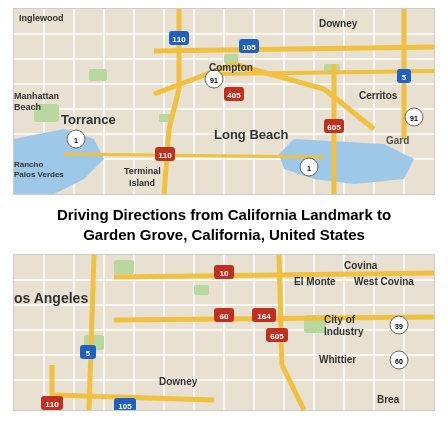[Figure (map): Google Maps view showing the Los Angeles area including Torrance, Long Beach, Compton, Cerritos, Rancho Palos Verdes, Terminal Island, and surrounding highway network with routes 110, 105, 405, 605, 91, 5, 1.]
Driving Directions from California Landmark to Garden Grove, California, United States
[Figure (map): Google Maps view showing the Los Angeles area including Los Angeles, El Monte, West Covina, Covina, City of Industry, Whittier, Downey, Brea, and surrounding highway network with routes 10, 60, 164, 605, 5, 110, 105, 39.]